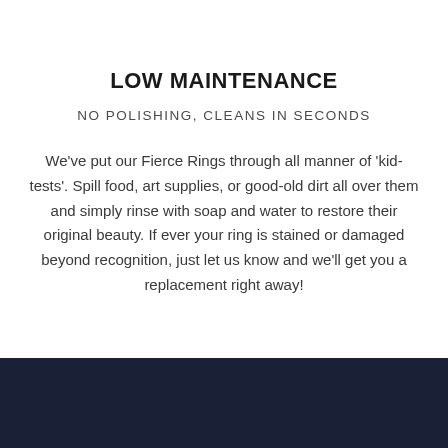LOW MAINTENANCE
NO POLISHING, CLEANS IN SECONDS
We've put our Fierce Rings through all manner of 'kid-tests'. Spill food, art supplies, or good-old dirt all over them and simply rinse with soap and water to restore their original beauty. If ever your ring is stained or damaged beyond recognition, just let us know and we'll get you a replacement right away!